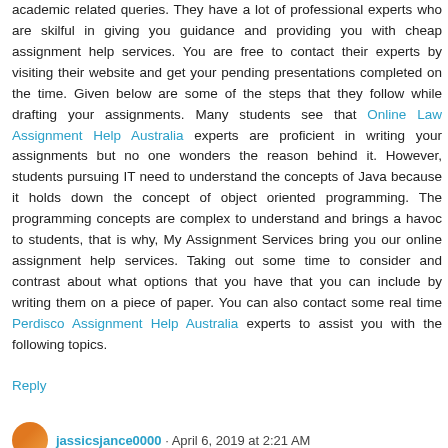academic related queries. They have a lot of professional experts who are skilful in giving you guidance and providing you with cheap assignment help services. You are free to contact their experts by visiting their website and get your pending presentations completed on the time. Given below are some of the steps that they follow while drafting your assignments. Many students see that Online Law Assignment Help Australia experts are proficient in writing your assignments but no one wonders the reason behind it. However, students pursuing IT need to understand the concepts of Java because it holds down the concept of object oriented programming. The programming concepts are complex to understand and brings a havoc to students, that is why, My Assignment Services bring you our online assignment help services. Taking out some time to consider and contrast about what options that you have that you can include by writing them on a piece of paper. You can also contact some real time Perdisco Assignment Help Australia experts to assist you with the following topics.
Reply
jassicsjance0000 · April 6, 2019 at 2:21 AM